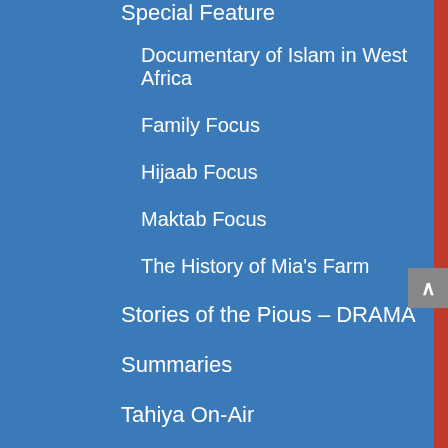Special Feature
Documentary of Islam in West Africa
Family Focus
Hijaab Focus
Maktab Focus
The History of Mia's Farm
Stories of the Pious – DRAMA
Summaries
Tahiya On-Air
TARAAWEEH 2012: Qari Ayyub Ishaq
Tasnim Dadabhay
Techno Programme
The Car Show
Tributes
Umm Abdillah